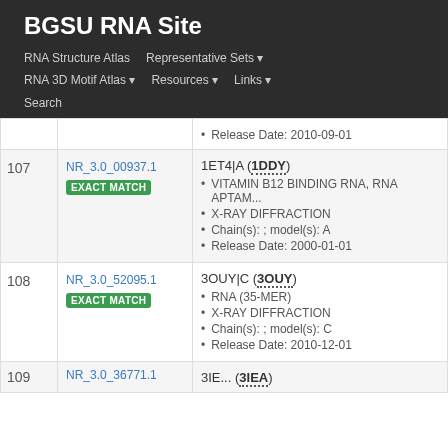BGSU RNA Site
RNA Structure Atlas | Representative Sets | RNA 3D Motif Atlas | Resources | Links | Search
| # | ID / Match | Entry Info |
| --- | --- | --- |
|  |  | Release Date: 2010-09-01 |
| 107 | NR_3.0_00937.1 EXACT MATCH | 1ET4|A (1DDY)
• VITAMIN B12 BINDING RNA, RNA APTAM...
• X-RAY DIFFRACTION
• Chain(s): ; model(s): A
• Release Date: 2000-01-01 |
| 108 | NR_3.0_52095.1 EXACT MATCH | 3OUY|C (3OUY)
• RNA (35-MER)
• X-RAY DIFFRACTION
• Chain(s): ; model(s): C
• Release Date: 2010-12-01 |
| 109 | NR_3.0_... | 3IE... (3IEA) |